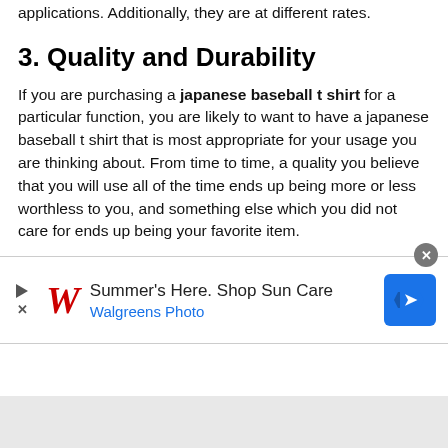applications. Additionally, they are at different rates.
3. Quality and Durability
If you are purchasing a japanese baseball t shirt for a particular function, you are likely to want to have a japanese baseball t shirt that is most appropriate for your usage you are thinking about. From time to time, a quality you believe that you will use all of the time ends up being more or less worthless to you, and something else which you did not care for ends up being your favorite item.
[Figure (infographic): Walgreens advertisement banner: Summer's Here. Shop Sun Care, Walgreens Photo, with play button, W logo, and blue directional sign icon. Close button in top right corner.]